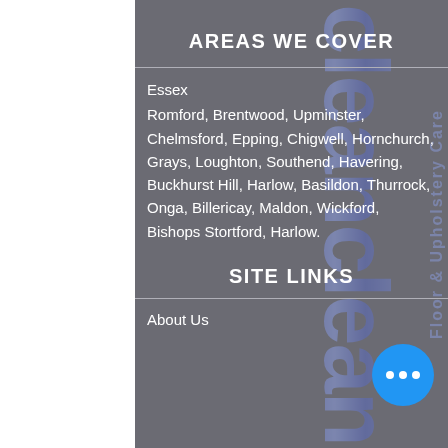[Figure (logo): Background watermark with large stylized text and 'Floor & Upholstery Care' rotated vertically on the right side, in blue/purple tones]
AREAS WE COVER
Essex
Romford, Brentwood, Upminster, Chelmsford, Epping, Chigwell, Hornchurch, Grays, Loughton, Southend, Havering, Buckhurst Hill, Harlow, Basildon, Thurrock, Onga, Billericay, Maldon, Wickford, Bishops Stortford, Harlow.
SITE LINKS
About Us